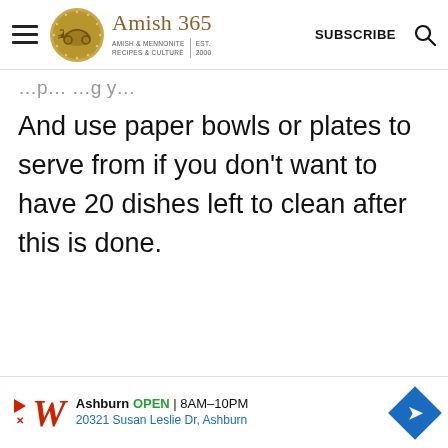Amish 365 | AMISH & MENNONITE RECIPES & CULTURE | EST. 2000 | SUBSCRIBE
And use paper bowls or plates to serve from if you don't want to have 20 dishes left to clean after this is done.
[Figure (other): Walgreens advertisement banner: Ashburn OPEN 8AM-10PM, 20321 Susan Leslie Dr, Ashburn]